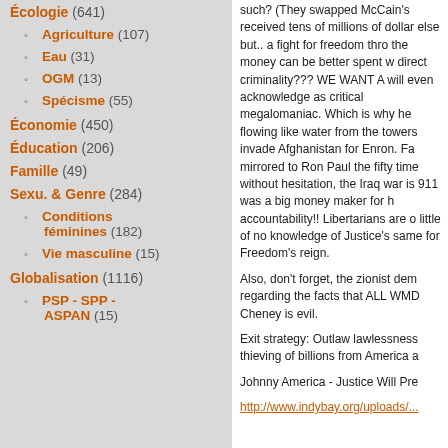Écologie (641)
Agriculture (107)
Eau (31)
OGM (13)
Spécisme (55)
Économie (450)
Éducation (206)
Famille (49)
Sexu. & Genre (284)
Conditions féminines (182)
Vie masculine (15)
Globalisation (1116)
PSP - SPP - ASPAN (15)
such? (They swapped McCain's received tens of millions of dollar else but.. a fight for freedom thro the money can be better spent w direct criminality??? WE WANT A will even acknowledge as critical megalomaniac. Which is why he flowing like water from the towers invade Afghanistan for Enron. Fa mirrored to Ron Paul the fifty time without hesitation, the Iraq war is 911 was a big money maker for h accountability!! Libertarians are o little of no knowledge of Justice's same for Freedom's reign.
Also, don't forget, the zionist dem regarding the facts that ALL WMD Cheney is evil.
Exit strategy: Outlaw lawlessness thieving of billions from America a
Johnny America - Justice Will Pre
http://www.indybay.org/uploads/...